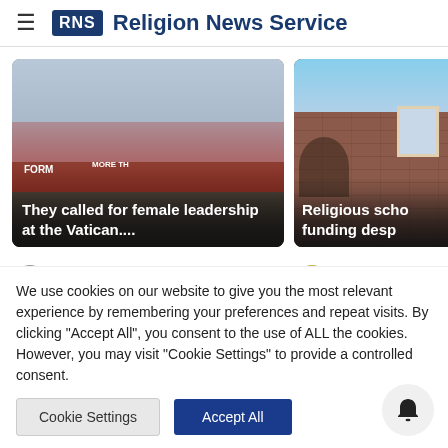Religion News Service
[Figure (photo): Photo of protesters holding red signs calling for female leadership at the Vatican, with columns in background and police officers]
They called for female leadership at the Vatican....
[Figure (photo): Photo of a brick building exterior with a window, related to religious school funding story]
Religious scho... funding desp...
Marty · 2d
OliveDuc...
We use cookies on our website to give you the most relevant experience by remembering your preferences and repeat visits. By clicking "Accept All", you consent to the use of ALL the cookies. However, you may visit "Cookie Settings" to provide a controlled consent.